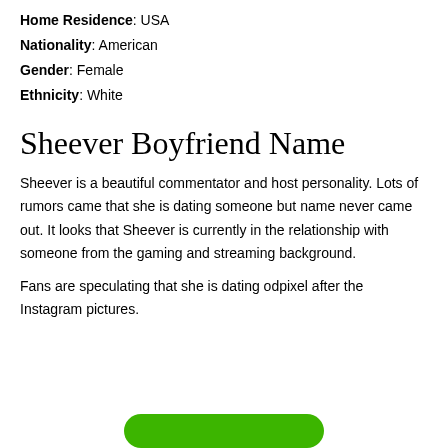Home Residence: USA
Nationality: American
Gender: Female
Ethnicity: White
Sheever Boyfriend Name
Sheever is a beautiful commentator and host personality. Lots of rumors came that she is dating someone but name never came out. It looks that Sheever is currently in the relationship with someone from the gaming and streaming background.
Fans are speculating that she is dating odpixel after the Instagram pictures.
[Figure (other): Green rounded button partially visible at bottom of page]